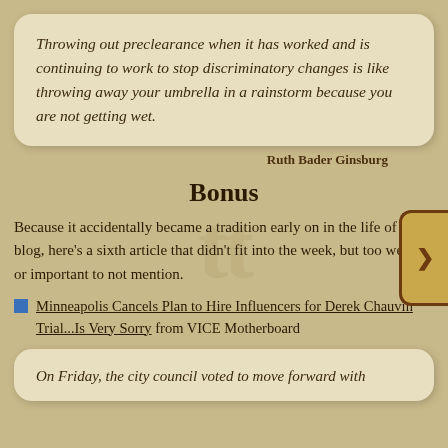Throwing out preclearance when it has worked and is continuing to work to stop discriminatory changes is like throwing away your umbrella in a rainstorm because you are not getting wet.
Ruth Bader Ginsburg
Bonus
Because it accidentally became a tradition early on in the life of the blog, here's a sixth article that didn't fit into the week, but too weird or important to not mention.
Minneapolis Cancels Plan to Hire Influencers for Derek Chauvin Trial...Is Very Sorry from VICE Motherboard
On Friday, the city council voted to move forward with